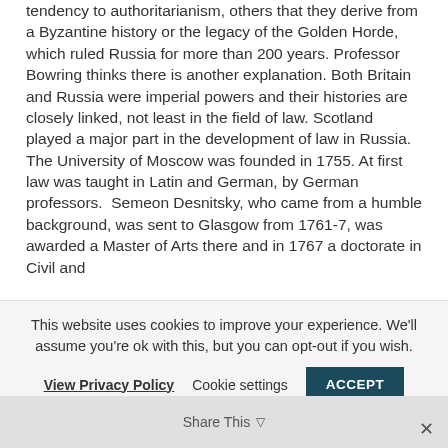tendency to authoritarianism, others that they derive from a Byzantine history or the legacy of the Golden Horde, which ruled Russia for more than 200 years. Professor Bowring thinks there is another explanation. Both Britain and Russia were imperial powers and their histories are closely linked, not least in the field of law. Scotland played a major part in the development of law in Russia.  The University of Moscow was founded in 1755. At first law was taught in Latin and German, by German professors.  Semeon Desnitsky, who came from a humble background, was sent to Glasgow from 1761-7, was awarded a Master of Arts there and in 1767 a doctorate in Civil and
This website uses cookies to improve your experience. We'll assume you're ok with this, but you can opt-out if you wish.
View Privacy Policy   Cookie settings   ACCEPT
Share This